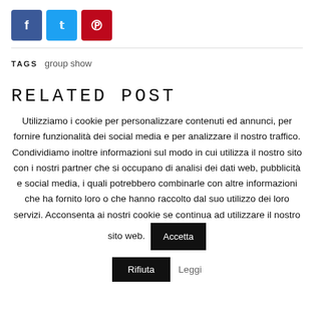[Figure (other): Three social media share buttons: Facebook (blue), Twitter (light blue), Pinterest (red)]
TAGS  group show
RELATED POST
Utilizziamo i cookie per personalizzare contenuti ed annunci, per fornire funzionalità dei social media e per analizzare il nostro traffico. Condividiamo inoltre informazioni sul modo in cui utilizza il nostro sito con i nostri partner che si occupano di analisi dei dati web, pubblicità e social media, i quali potrebbero combinarle con altre informazioni che ha fornito loro o che hanno raccolto dal suo utilizzo dei loro servizi. Acconsenta ai nostri cookie se continua ad utilizzare il nostro sito web.
Rifiuta  Leggi